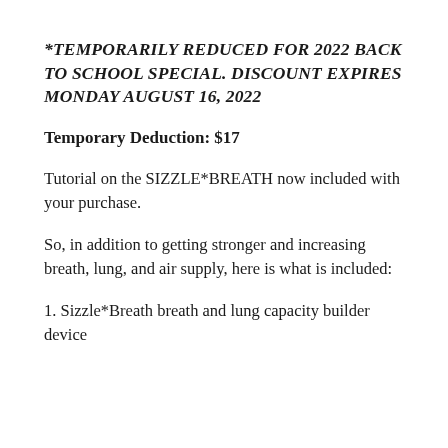*TEMPORARILY REDUCED FOR 2022 BACK TO SCHOOL SPECIAL. DISCOUNT EXPIRES MONDAY AUGUST 16, 2022
Temporary Deduction: $17
Tutorial on the SIZZLE*BREATH now included with your purchase.
So, in addition to getting stronger and increasing breath, lung, and air supply, here is what is included:
1. Sizzle*Breath breath and lung capacity builder device